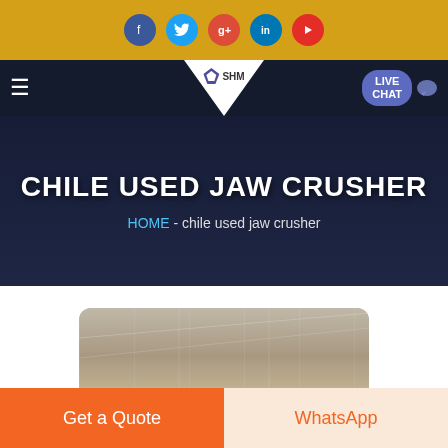[Figure (screenshot): Website header with golden top bar containing social media icons (Facebook, Twitter, Google+, LinkedIn, YouTube)]
[Figure (screenshot): Navigation bar with hamburger menu, SHM logo in white triangle, and Live Chat button]
CHILE USED JAW CRUSHER
HOME  -  chile used jaw crusher
[Figure (photo): Partial view of a factory/warehouse interior]
Get a Quote
WhatsApp